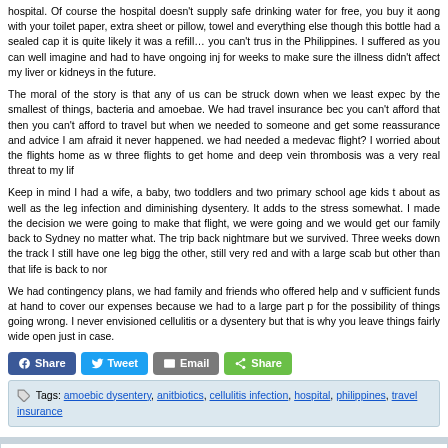hospital. Of course the hospital doesn't supply safe drinking water for free, you buy it aong with your toilet paper, extra sheet or pillow, towel and everything else though this bottle had a sealed cap it is quite likely it was a refill… you can't trus in the Philippines. I suffered as you can well imagine and had to have ongoing inj for weeks to make sure the illness didn't affect my liver or kidneys in the future.
The moral of the story is that any of us can be struck down when we least expec by the smallest of things, bacteria and amoebae. We had travel insurance bec you can't afford that then you can't afford to travel but when we needed to someone and get some reassurance and advice I am afraid it never happened. we had needed a medevac flight? I worried about the flights home as w three flights to get home and deep vein thrombosis was a very real threat to my lif
Keep in mind I had a wife, a baby, two toddlers and two primary school age kids t about as well as the leg infection and diminishing dysentery. It adds to the stress somewhat. I made the decision we were going to make that flight, we were going and we would get our family back to Sydney no matter what. The trip back nightmare but we survived. Three weeks down the track I still have one leg bigg the other, still very red and with a large scab but other than that life is back to nor
We had contingency plans, we had family and friends who offered help and v sufficient funds at hand to cover our expenses because we had to a large part p for the possibility of things going wrong. I never envisioned cellulitis or a dysentery but that is why you leave things fairly wide open just in case.
[Figure (other): Social sharing buttons: Facebook Share, Twitter Tweet, Email, and generic Share (green)]
Tags: amoebic dysentery, anitbiotics, cellulitis infection, hospital, philippines, travel insurance
Comments are closed.